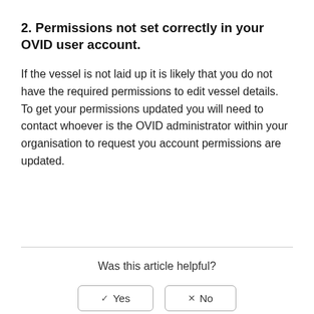2. Permissions not set correctly in your OVID user account.
If the vessel is not laid up it is likely that you do not have the required permissions to edit vessel details. To get your permissions updated you will need to contact whoever is the OVID administrator within your organisation to request you account permissions are updated.
Was this article helpful?